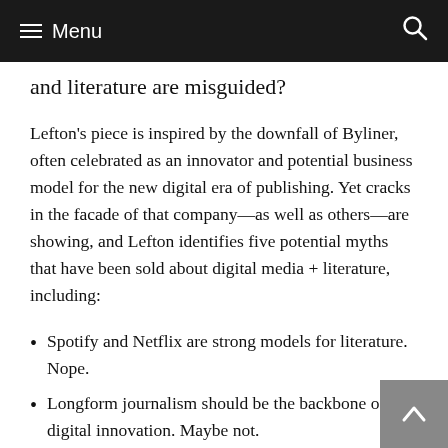≡ Menu
and literature are misguided?
Lefton's piece is inspired by the downfall of Byliner, often celebrated as an innovator and potential business model for the new digital era of publishing. Yet cracks in the facade of that company—as well as others—are showing, and Lefton identifies five potential myths that have been sold about digital media + literature, including:
Spotify and Netflix are strong models for literature. Nope.
Longform journalism should be the backbone of digital innovation. Maybe not.